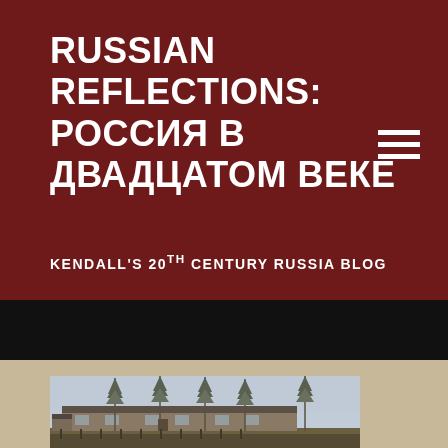RUSSIAN REFLECTIONS: РОССИЯ В ДВАДЦАТОМ ВЕКЕ
KENDALL'S 20th CENTURY RUSSIA BLOG
[Figure (photo): Vintage photograph of a Russian wooden building/house with tall pine trees in the background, appearing to be from the early 20th century. The image has a faded, colorized quality typical of early color photography.]